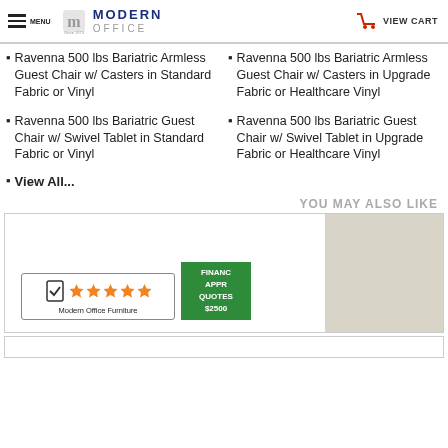MENU | Modern Office | VIEW CART
Ravenna 500 lbs Bariatric Armless Guest Chair w/ Casters in Standard Fabric or Vinyl
Ravenna 500 lbs Bariatric Armless Guest Chair w/ Casters in Upgrade Fabric or Healthcare Vinyl
Ravenna 500 lbs Bariatric Guest Chair w/ Swivel Tablet in Standard Fabric or Vinyl
Ravenna 500 lbs Bariatric Guest Chair w/ Swivel Tablet in Upgrade Fabric or Healthcare Vinyl
View All...
YOU MAY ALSO LIKE
[Figure (screenshot): Modern Office Furniture 5-star rating badge and financing banner with grey product image placeholder]